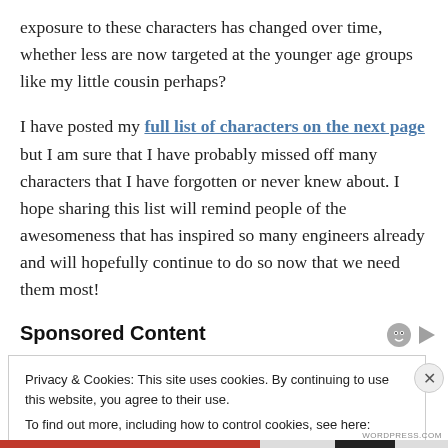exposure to these characters has changed over time, whether less are now targeted at the younger age groups like my little cousin perhaps?
I have posted my full list of characters on the next page but I am sure that I have probably missed off many characters that I have forgotten or never knew about. I hope sharing this list will remind people of the awesomeness that has inspired so many engineers already and will hopefully continue to do so now that we need them most!
Sponsored Content
Privacy & Cookies: This site uses cookies. By continuing to use this website, you agree to their use. To find out more, including how to control cookies, see here: Cookie Policy
Close and accept